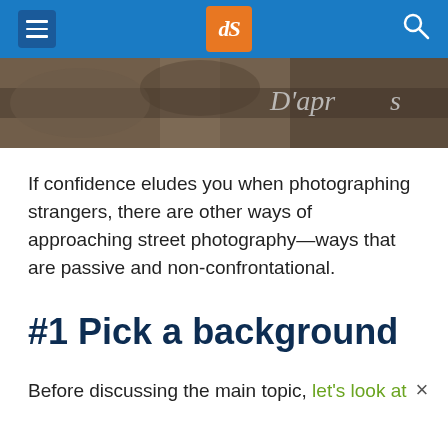dPS navigation header with hamburger menu, dPS logo, and search icon
[Figure (photo): Partial view of a darkened textured surface with handwritten text 'D'apres' visible on the right side]
If confidence eludes you when photographing strangers, there are other ways of approaching street photography—ways that are passive and non-confrontational.
#1 Pick a background
Before discussing the main topic, let's look at